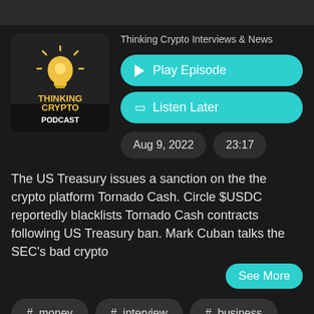[Figure (logo): Thinking Crypto Podcast logo: dark background with yellow lightbulb icon and text 'THINKING CRYPTO PODCAST']
Thinking Crypto Interviews & News
▶ Play Episode
🔖 Listen Later
Aug 9, 2022
23:17
The US Treasury issues a sanction on the the crypto platform Tornado Cash. Circle $USDC reportedly blacklists Tornado Cash contracts following US Treasury ban. Mark Cuban talks the SEC's bad crypto
See More
# money
# interview
# business